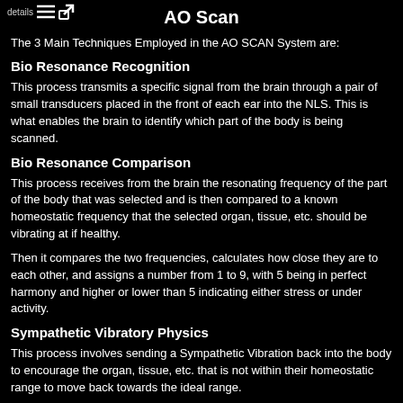AO Scan
The 3 Main Techniques Employed in the AO SCAN System are:
Bio Resonance Recognition
This process transmits a specific signal from the brain through a pair of small transducers placed in the front of each ear into the NLS. This is what enables the brain to identify which part of the body is being scanned.
Bio Resonance Comparison
This process receives from the brain the resonating frequency of the part of the body that was selected and is then compared to a known homeostatic frequency that the selected organ, tissue, etc. should be vibrating at if healthy.
Then it compares the two frequencies, calculates how close they are to each other, and assigns a number from 1 to 9, with 5 being in perfect harmony and higher or lower than 5 indicating either stress or under activity.
Sympathetic Vibratory Physics
This process involves sending a Sympathetic Vibration back into the body to encourage the organ, tissue, etc. that is not within their homeostatic range to move back towards the ideal range.